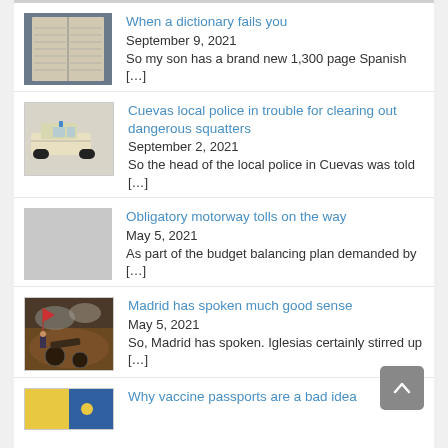When a dictionary fails you
September 9, 2021
So my son has a brand new 1,300 page Spanish […]
Cuevas local police in trouble for clearing out dangerous squatters
September 2, 2021
So the head of the local police in Cuevas was told […]
Obligatory motorway tolls on the way
May 5, 2021
As part of the budget balancing plan demanded by […]
Madrid has spoken much good sense
May 5, 2021
So, Madrid has spoken. Iglesias certainly stirred up […]
Why vaccine passports are a bad idea